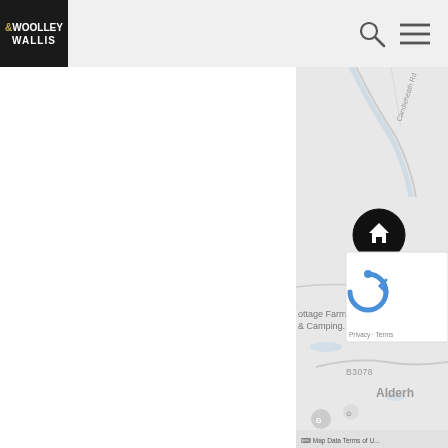[Figure (logo): Woolley & Wallis real estate logo — white text on black background, with ampersand in gold]
[Figure (screenshot): Google Maps screenshot showing a property location marker (house icon in black circle pin) in a rural area near Alderh..., with road B3078 visible, Cottage Farm & Camping label, and a reCAPTCHA widget overlay. Map Data and Terms of U... shown at bottom.]